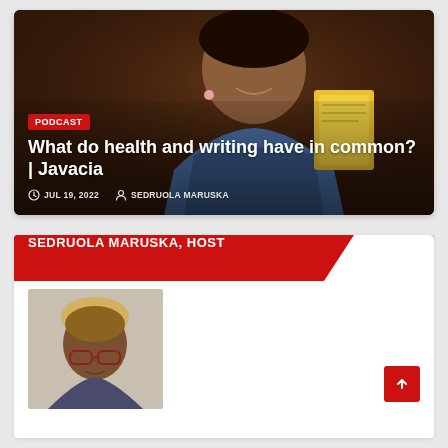[Figure (photo): Podcast article hero image showing a smiling woman holding a book, with dark brown background. Overlaid with podcast badge, article title, date and author metadata.]
What do health and writing have in common? | Javacia
JUL 19, 2022   SEDRUOLA MARUSKA
SEDRUOLA MARUSKA, HOST
[Figure (photo): Portrait photo of Sedruola Maruska, a woman with short blonde-tipped natural hair wearing glasses, shown from shoulders up against a neutral background.]